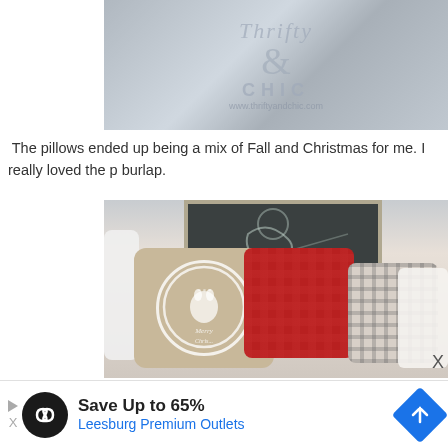[Figure (photo): Thrifty and Chic blog logo with wire basket containing pinecones on a gray background]
The pillows ended up being a mix of Fall and Christmas for me. I really loved the p burlap.
[Figure (photo): Collection of decorative pillows including a burlap Merry Christmas reindeer pillow, red plaid pillow, and gray plaid pillow arranged on a white bed with a chalkboard in the background]
X
[Figure (screenshot): Advertisement banner: Save Up to 65% Leesburg Premium Outlets]